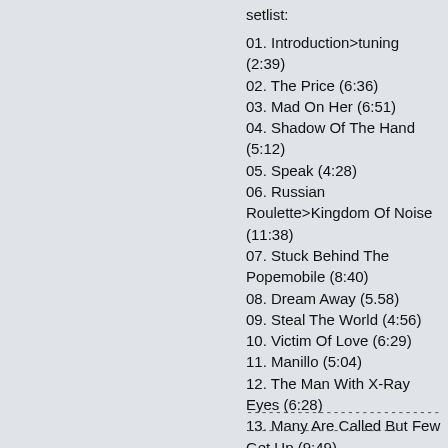setlist:
01. Introduction>tuning (2:39)
02. The Price (6:36)
03. Mad On Her (6:51)
04. Shadow Of The Hand (5:12)
05. Speak (4:28)
06. Russian Roulette>Kingdom Of Noise (11:38)
07. Stuck Behind The Popemobile (8:40)
08. Dream Away (5.58)
09. Steal The World (4:56)
10. Victim Of Love (6:29)
11. Manillo (5:04)
12. The Man With X-Ray Eyes (6:28)
13. Many Are Called But Few Get Up (9:49)
14. Freedom Fries (8:32)
15. Romain (5:43)
16. Conflict Of Interest (9:32)
17. audience (2:34)
------------------------------------------------
------------------------------------------------